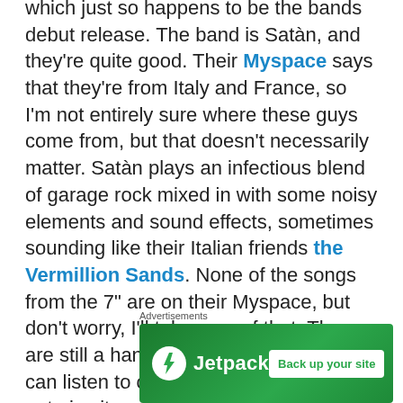which just so happens to be the bands debut release. The band is Satàn, and they're quite good. Their Myspace says that they're from Italy and France, so I'm not entirely sure where these guys come from, but that doesn't necessarily matter. Satàn plays an infectious blend of garage rock mixed in with some noisy elements and sound effects, sometimes sounding like their Italian friends the Vermillion Sands. None of the songs from the 7" are on their Myspace, but don't worry, I'll take care of that. There are still a handful of other songs you can listen to on their Myspace, so why not give it a shot? You never know! Thanks for checking again today, and sorry for the short post. Be sure to check back yet again tomorrow!
Advertisements
[Figure (other): Jetpack advertisement banner with green background, Jetpack logo and lightning bolt icon on the left, and 'Back up your site' button on the right]